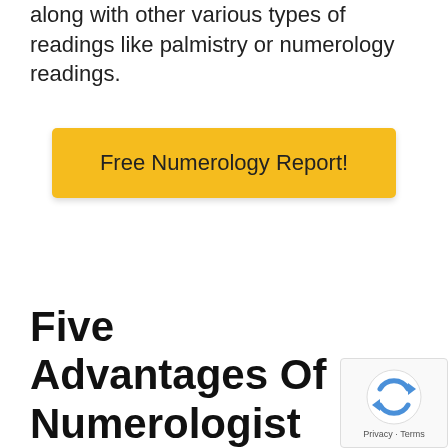along with other various types of readings like palmistry or numerology readings.
[Figure (other): Yellow button labeled 'Free Numerology Report!']
Five Advantages Of Numerologist
[Figure (other): reCAPTCHA privacy badge with spinning arrows logo and 'Privacy - Terms' text]